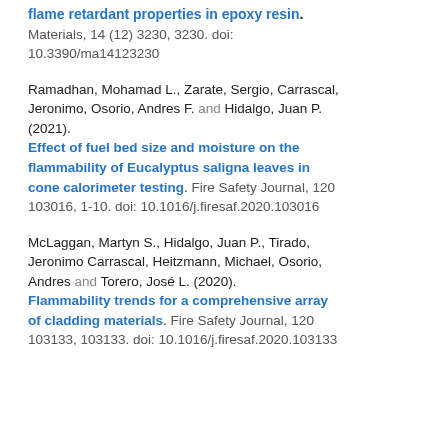flame retardant properties in epoxy resin. Materials, 14 (12) 3230, 3230. doi: 10.3390/ma14123230
Ramadhan, Mohamad L., Zarate, Sergio, Carrascal, Jeronimo, Osorio, Andres F. and Hidalgo, Juan P. (2021). Effect of fuel bed size and moisture on the flammability of Eucalyptus saligna leaves in cone calorimeter testing. Fire Safety Journal, 120 103016, 1-10. doi: 10.1016/j.firesaf.2020.103016
McLaggan, Martyn S., Hidalgo, Juan P., Tirado, Jeronimo Carrascal, Heitzmann, Michael, Osorio, Andres and Torero, José L. (2020). Flammability trends for a comprehensive array of cladding materials. Fire Safety Journal, 120 103133, 103133. doi: 10.1016/j.firesaf.2020.103133
...